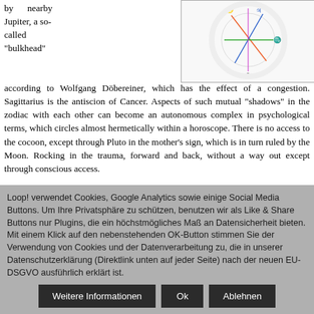by nearby Jupiter, a so-called "bulkhead"
[Figure (other): Astrological natal chart / horoscope wheel diagram with colored aspects and planetary symbols]
according to Wolfgang Döbereiner, which has the effect of a congestion. Sagittarius is the antiscion of Cancer. Aspects of such mutual "shadows" in the zodiac with each other can become an autonomous complex in psychological terms, which circles almost hermetically within a horoscope. There is no access to the cocoon, except through Pluto in the mother's sign, which is in turn ruled by the Moon. Rocking in the trauma, forward and back, without a way out except through conscious access.

In Alice Miller's natal chart, this Moon-Jupiter in the shock-susceptible Scorpio has the effect of a barrier, a palisade against the rest of the world, and, above all, for the Moon's sake, also
Loop! verwendet Cookies, Google Analytics sowie einige Social Media Buttons. Um Ihre Privatsphäre zu schützen, benutzen wir als Like & Share Buttons nur Plugins, die ein höchstmögliches Maß an Datensicherheit bieten. Mit einem Klick auf den nebenstehenden OK-Button stimmen Sie der Verwendung von Cookies und der Datenverarbeitung zu, die in unserer Datenschutzerklärung (Direktlink unten auf jeder Seite) nach der neuen EU-DSGVO ausführlich erklärt ist.